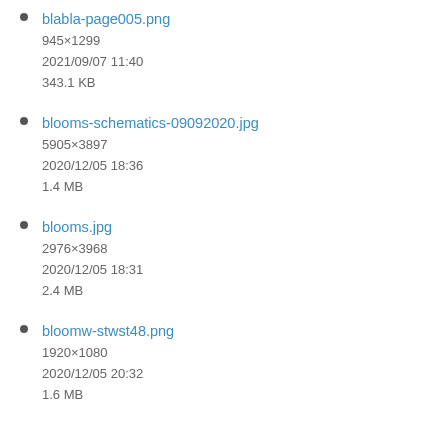blabla-page005.png
945×1299
2021/09/07 11:40
343.1 KB
blooms-schematics-09092020.jpg
5905×3897
2020/12/05 18:36
1.4 MB
blooms.jpg
2976×3968
2020/12/05 18:31
2.4 MB
bloomw-stwst48.png
1920×1080
2020/12/05 20:32
1.6 MB